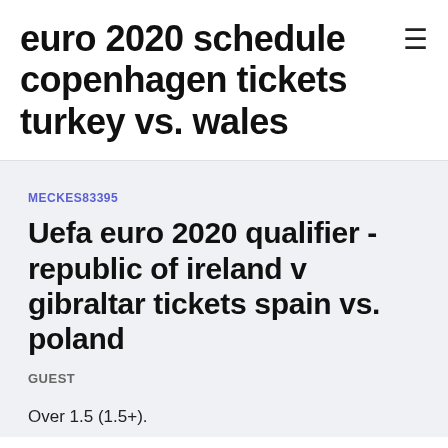euro 2020 schedule copenhagen tickets turkey vs. wales
MECKES83395
Uefa euro 2020 qualifier - republic of ireland v gibraltar tickets spain vs. poland
GUEST
Over 1.5 (1.5+).
Republic of Ireland, vs. Azerbaijan, Aviva Stadium - 4th